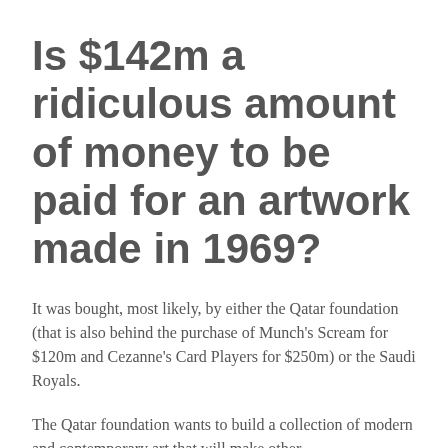Is $142m a ridiculous amount of money to be paid for an artwork made in 1969?
It was bought, most likely, by either the Qatar foundation (that is also behind the purchase of Munch's Scream for $120m and Cezanne's Card Players for $250m) or the Saudi Royals.
The Qatar foundation wants to build a collection of modern and contemporary art that will make other